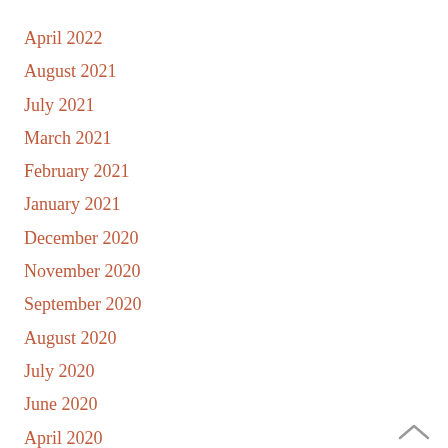April 2022
August 2021
July 2021
March 2021
February 2021
January 2021
December 2020
November 2020
September 2020
August 2020
July 2020
June 2020
April 2020
March 2020